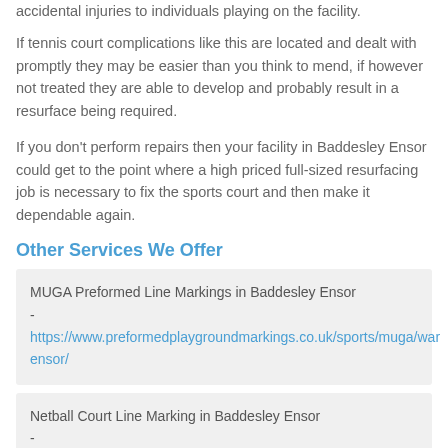accidental injuries to individuals playing on the facility.
If tennis court complications like this are located and dealt with promptly they may be easier than you think to mend, if however not treated they are able to develop and probably result in a resurface being required.
If you don't perform repairs then your facility in Baddesley Ensor could get to the point where a high priced full-sized resurfacing job is necessary to fix the sports court and then make it dependable again.
Other Services We Offer
MUGA Preformed Line Markings in Baddesley Ensor - https://www.preformedplaygroundmarkings.co.uk/sports/muga/warwickshire/baddesley-ensor/
Netball Court Line Marking in Baddesley Ensor - https://www.preformedplaygroundmarkings.co.uk/sports/netball/warwickshire/baddesley-ensor/